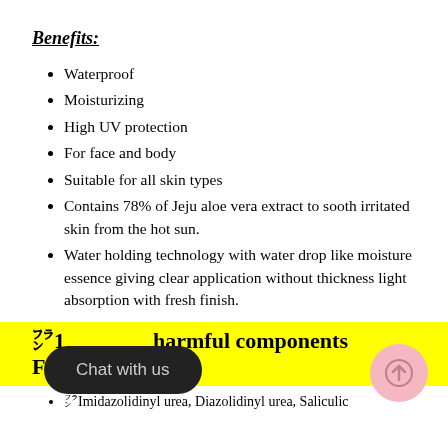Benefits:
Waterproof
Moisturizing
High UV protection
For face and body
Suitable for all skin types
Contains 78% of Jeju aloe vera extract to sooth irritated skin from the hot sun.
Water holding technology with water drop like moisture essence giving clear application without thickness light absorption with fresh finish.
10 harmful components Free from harmful components
⁕Imidazolidinyl urea, Diazolidinyl urea, Saliculic